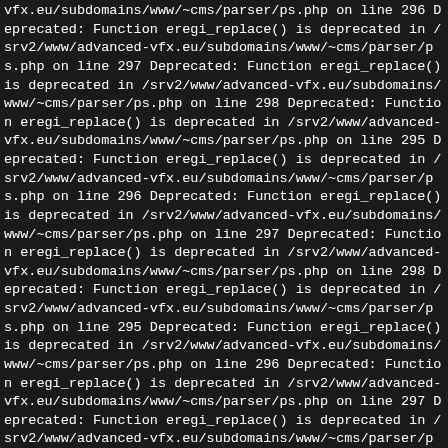vfx.eu/subdomains/www/~cms/parser/ps.php on line 296 Deprecated: Function eregi_replace() is deprecated in /srv2/www/advanced-vfx.eu/subdomains/www/~cms/parser/ps.php on line 297 Deprecated: Function eregi_replace() is deprecated in /srv2/www/advanced-vfx.eu/subdomains/www/~cms/parser/ps.php on line 298 Deprecated: Function eregi_replace() is deprecated in /srv2/www/advanced-vfx.eu/subdomains/www/~cms/parser/ps.php on line 295 Deprecated: Function eregi_replace() is deprecated in /srv2/www/advanced-vfx.eu/subdomains/www/~cms/parser/ps.php on line 296 Deprecated: Function eregi_replace() is deprecated in /srv2/www/advanced-vfx.eu/subdomains/www/~cms/parser/ps.php on line 297 Deprecated: Function eregi_replace() is deprecated in /srv2/www/advanced-vfx.eu/subdomains/www/~cms/parser/ps.php on line 298 Deprecated: Function eregi_replace() is deprecated in /srv2/www/advanced-vfx.eu/subdomains/www/~cms/parser/ps.php on line 295 Deprecated: Function eregi_replace() is deprecated in /srv2/www/advanced-vfx.eu/subdomains/www/~cms/parser/ps.php on line 296 Deprecated: Function eregi_replace() is deprecated in /srv2/www/advanced-vfx.eu/subdomains/www/~cms/parser/ps.php on line 297 Deprecated: Function eregi_replace() is deprecated in /srv2/www/advanced-vfx.eu/subdomains/www/~cms/parser/ps.php on line 298 Deprecated: Function eregi_replace() is deprecated in /srv2/www/advanced-vfx.eu/subdomains/www/~cms/parser/ps.php on line 295 Deprecated: Function eregi_replace() is deprecated in /srv2/www/advanced-